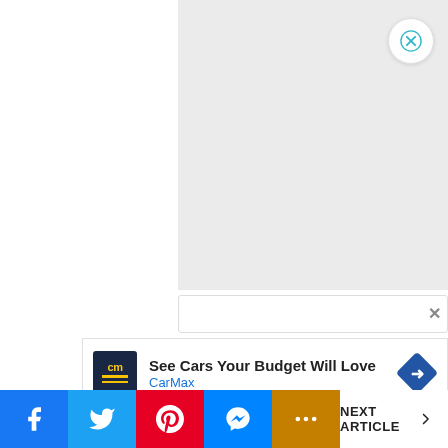[Figure (screenshot): Left white panel area, part of a webpage layout]
[Figure (screenshot): Right light gray panel area representing an ad or content block with a close (X) button in the top right corner]
[Figure (screenshot): Search bar area with a close X button on the right]
[Figure (screenshot): CarMax advertisement banner: CarMax logo (dark blue background with 'cm' and yellow lines), headline 'See Cars Your Budget Will Love', brand name 'CarMax' in blue, and a blue diamond navigation arrow icon. Below the ad are small play and X icons.]
[Figure (screenshot): Social sharing bar with Facebook, Twitter, Pinterest, Messenger, and More (...) buttons, plus a NEXT ARTICLE link on the right]